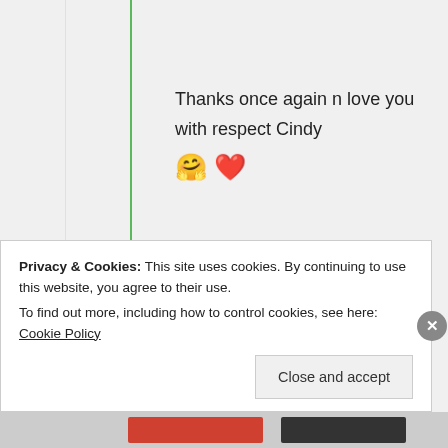Thanks once again n love you with respect Cindy 🤗❤️
★ Liked by 1 person
[Figure (photo): Profile photo of Cindy Georgakas — woman with blonde hair, circular avatar]
Cindy Georgakas
Privacy & Cookies: This site uses cookies. By continuing to use this website, you agree to their use. To find out more, including how to control cookies, see here: Cookie Policy
Close and accept